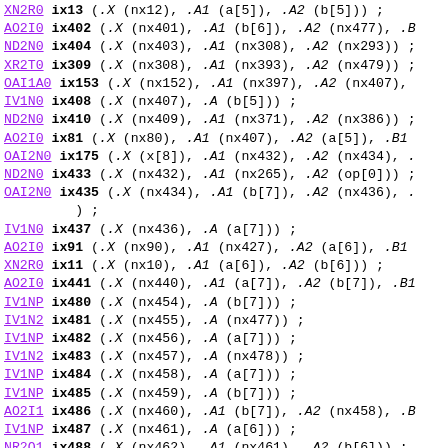Code listing: hardware description language instantiation statements
XN2R0 ix13 (.X (nx12), .A1 (a[5]), .A2 (b[5])) ;
AO2I0 ix402 (.X (nx401), .A1 (b[6]), .A2 (nx477), .B...
ND2N0 ix404 (.X (nx403), .A1 (nx308), .A2 (nx293)) ;
XR2T0 ix309 (.X (nx308), .A1 (nx393), .A2 (nx479)) ;
OAI1A0 ix153 (.X (nx152), .A1 (nx397), .A2 (nx407),
IV1N0 ix408 (.X (nx407), .A (b[5])) ;
ND2N0 ix410 (.X (nx409), .A1 (nx371), .A2 (nx386)) ;
AO2I0 ix81 (.X (nx80), .A1 (nx407), .A2 (a[5]), .B1...
OAI2N0 ix175 (.X (x[8]), .A1 (nx432), .A2 (nx434), .
ND2N0 ix433 (.X (nx432), .A1 (nx265), .A2 (op[0])) ;
OAI2N0 ix435 (.X (nx434), .A1 (b[7]), .A2 (nx436), .
) ;
IV1N0 ix437 (.X (nx436), .A (a[7])) ;
AO2I0 ix91 (.X (nx90), .A1 (nx427), .A2 (a[6]), .B1...
XN2R0 ix11 (.X (nx10), .A1 (a[6]), .A2 (b[6])) ;
AO2I0 ix441 (.X (nx440), .A1 (a[7]), .A2 (b[7]), .B1...
IV1NP ix480 (.X (nx454), .A (b[7])) ;
IV1N2 ix481 (.X (nx455), .A (nx477)) ;
IV1NP ix482 (.X (nx456), .A (a[7])) ;
IV1N2 ix483 (.X (nx457), .A (nx478)) ;
IV1NP ix484 (.X (nx458), .A (a[7])) ;
IV1NP ix485 (.X (nx459), .A (b[7])) ;
AO2I1 ix486 (.X (nx460), .A1 (b[7]), .A2 (nx458), .B...
IV1NP ix487 (.X (nx461), .A (a[6])) ;
NR2Q1 ix488 (.X (nx462), .A1 (nx461), .A2 (b[6])) ;
IV1NP nx427_rename (.X (nx427), .A (b[6])) ;
NR2Q1 ix489 (.X (nx463), .A1 (nx427), .A2 (a[6])) ;
NR2R1 ix490 (.X (nx464), .A1 (nx463), .A2 (nx80)) ;
AN2T0 ix491 (.X (nx465), .A1 (nx265), .A2 (op[0])) ;
OAI1A1 ix492 (.X (nx466), .A1 (nx462), .A2 (nx464),